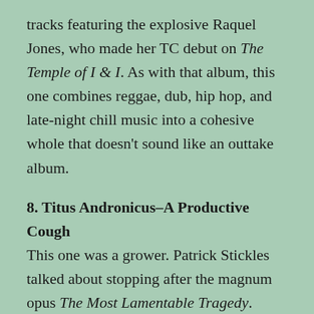tracks featuring the explosive Raquel Jones, who made her TC debut on The Temple of I & I. As with that album, this one combines reggae, dub, hip hop, and late-night chill music into a cohesive whole that doesn't sound like an outtake album.
8. Titus Andronicus–A Productive Cough
This one was a grower. Patrick Stickles talked about stopping after the magnum opus The Most Lamentable Tragedy. Instead, he changed course and made this record of stripped down songs that is almost folk rock in places. That point is hammered in by the cover of Bob Dylan's "Like a Rolling Stone." It's uneven, but the best songs ("Real Talk," "Above the